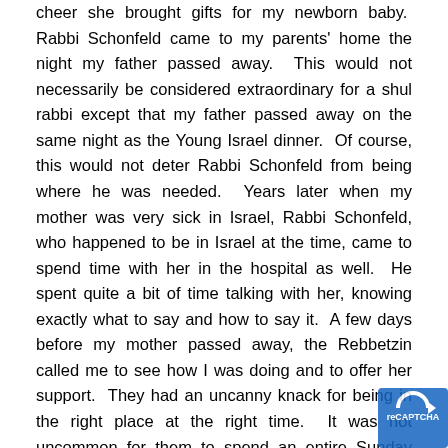cheer she brought gifts for my newborn baby.  Rabbi Schonfeld came to my parents' home the night my father passed away.  This would not necessarily be considered extraordinary for a shul rabbi except that my father passed away on the same night as the Young Israel dinner.  Of course, this would not deter Rabbi Schonfeld from being where he was needed.  Years later when my mother was very sick in Israel, Rabbi Schonfeld, who happened to be in Israel at the time, came to spend time with her in the hospital as well.  He spent quite a bit of time talking with her, knowing exactly what to say and how to say it.  A few days before my mother passed away, the Rebbetzin called me to see how I was doing and to offer her support.  They had an uncanny knack for being in the right place at the right time.  It was not uncommon for them to spend an entire Sunday running from one affair to another with more energy than I had at half their age.  The Young Israel was not a small congregation by any means, but the Rabbi and Rebbetzin were always there for everyone, in good times and bad.
There is one memory I have with Rabbi Schonfeld which to this day